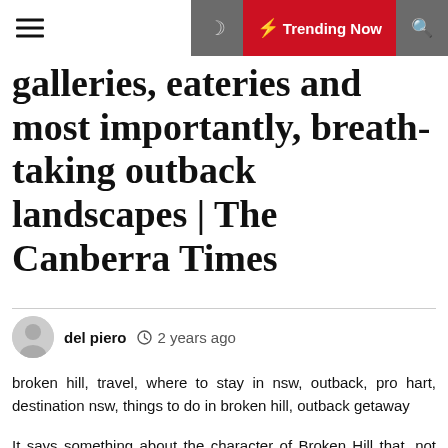≡  ☾  ⚡ Trending Now  🔍
galleries, eateries and most importantly, breath-taking outback landscapes | The Canberra Times
del piero  🕐 2 years ago
broken hill, travel, where to stay in nsw, outback, pro hart, destination nsw, things to do in broken hill, outback getaway
It says something about the character of Broken Hill that, not long after I turn up at the city's Pro Hart Gallery, introduce myself as a writer, and start asking a few questions about the painter, I am being invited for coffee